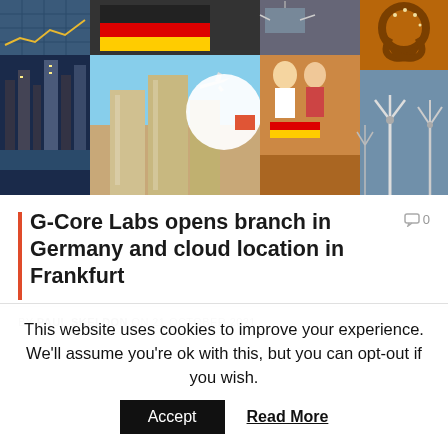[Figure (photo): Collage of Germany-related images: solar panels, German flag, G-Core Labs logo (orange G on white circle), pretzel, Frankfurt skyline, modern skyscrapers with airplane, smiling couple with German flag, wind turbines]
G-Core Labs opens branch in Germany and cloud location in Frankfurt
BY PAUL SKELDON ON 21 OCTOBER 2021
This website uses cookies to improve your experience. We'll assume you're ok with this, but you can opt-out if you wish.